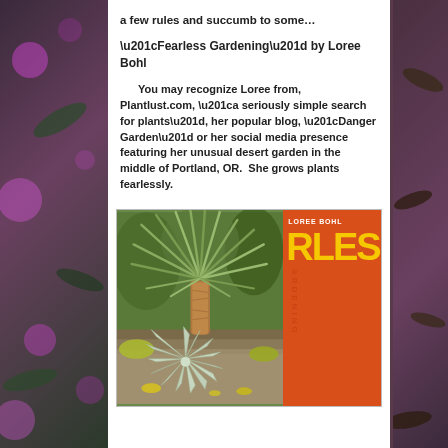a few rules and succumb to some…
“Fearless Gardening” by Loree Bohl
You may recognize Loree from, Plantlust.com, “a seriously simple search for plants”, her popular blog, “Danger Garden” or her social media presence featuring her unusual desert garden in the middle of Portland, OR.  She grows plants fearlessly.
[Figure (photo): Book cover of 'Fearless Gardening' by Loree Bohl, showing a yucca/palm plant and agave in a desert garden on the left side, with an orange sidebar on the right showing the author name 'LOREE BOHL' in white and large yellow letters 'RLESS' and 'ARDENING' vertically.]